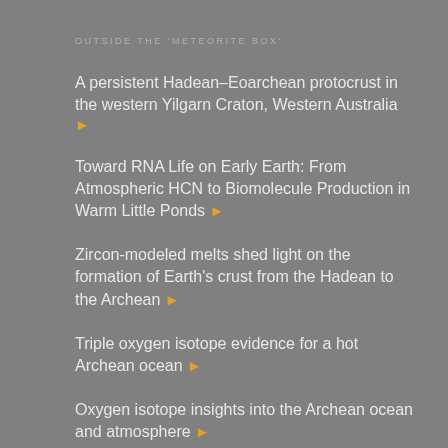OUTSIDE THE 'METEORITE BOX'
A persistent Hadean–Eoarchean protocrust in the western Yilgarn Craton, Western Australia ▶
Toward RNA Life on Early Earth: From Atmospheric HCN to Biomolecule Production in Warm Little Ponds ▶
Zircon-modeled melts shed light on the formation of Earth's crust from the Hadean to the Archean ▶
Triple oxygen isotope evidence for a hot Archean ocean ▶
Oxygen isotope insights into the Archean ocean and atmosphere ▶